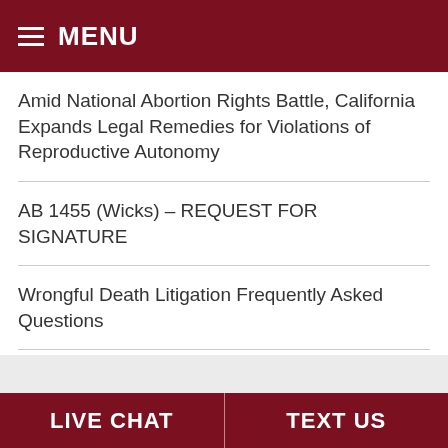MENU
Amid National Abortion Rights Battle, California Expands Legal Remedies for Violations of Reproductive Autonomy
AB 1455 (Wicks) – REQUEST FOR SIGNATURE
Wrongful Death Litigation Frequently Asked Questions
When Can You Sue Your Employer For a Work Injury?
What Happens in a Wrongful Death Lawsuit?
LIVE CHAT  TEXT US